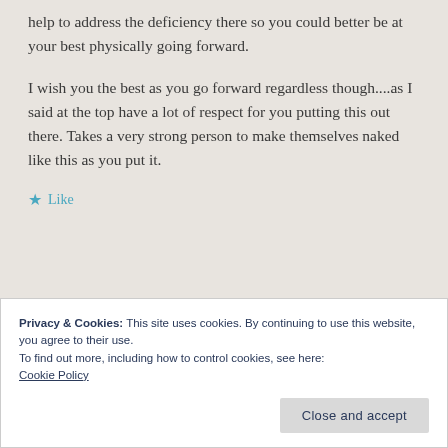help to address the deficiency there so you could better be at your best physically going forward.
I wish you the best as you go forward regardless though....as I said at the top have a lot of respect for you putting this out there. Takes a very strong person to make themselves naked like this as you put it.
★ Like
Privacy & Cookies: This site uses cookies. By continuing to use this website, you agree to their use.
To find out more, including how to control cookies, see here:
Cookie Policy
Close and accept